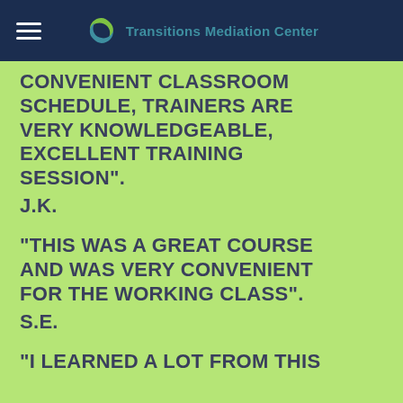Transitions Mediation Center
CONVENIENT CLASSROOM SCHEDULE, TRAINERS ARE VERY KNOWLEDGEABLE, EXCELLENT TRAINING SESSION". J.K.
"THIS WAS A GREAT COURSE AND WAS VERY CONVENIENT FOR THE WORKING CLASS". S.E.
"I LEARNED A LOT FROM THIS